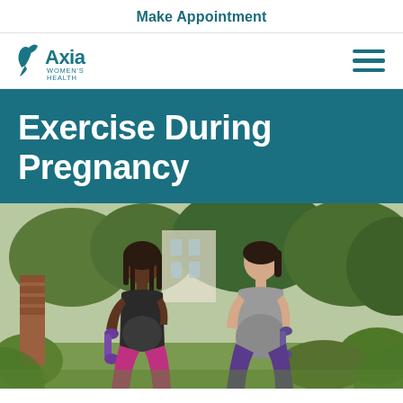Make Appointment
[Figure (logo): Axia Women's Health logo with stylized figure and text]
Exercise During Pregnancy
[Figure (photo): Two pregnant women walking outdoors carrying yoga mats, smiling and talking. Surrounded by green plants and trees.]